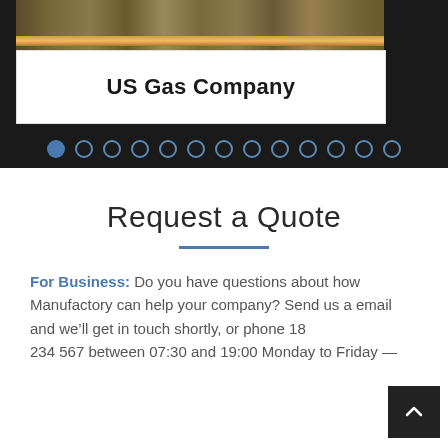[Figure (screenshot): Top dark banner with gravel/rock texture image above a white title card reading 'US Gas Company', followed by a row of circular dot navigation indicators on a dark background]
US Gas Company
Request a Quote
For Business: Do you have questions about how Manufactory can help your company? Send us an email and we'll get in touch shortly, or phone 18 234 567 between 07:30 and 19:00 Monday to Friday —